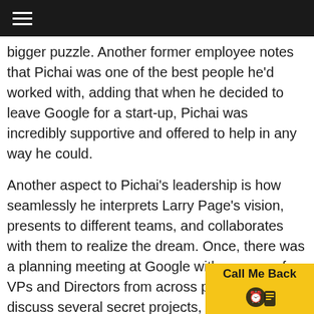bigger puzzle. Another former employee notes that Pichai was one of the best people he'd worked with, adding that when he decided to leave Google for a start-up, Pichai was incredibly supportive and offered to help in any way he could.
Another aspect to Pichai's leadership is how seamlessly he interprets Larry Page's vision, presents to different teams, and collaborates with them to realize the dream. Once, there was a planning meeting at Google with a group of VPs and Directors from across products to discuss several secret projects, and they were all bickering. Page walked in, talked about abstract concepts and big ideas not related to the pre-set engineering roadmap, and introduced aspects the teams hadn't expected even in their wildest thoughts. The entire room plunged into shocked silence, and Page walked out without getting a single question. Seconds later, Pichai walked in and simpli… everything for the team. Post meeting conclusion, h…